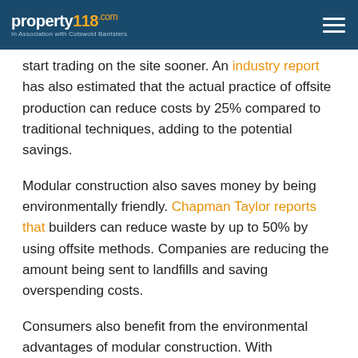property118.com — In Association with Cotswold Barristers
start trading on the site sooner. An industry report has also estimated that the actual practice of offsite production can reduce costs by 25% compared to traditional techniques, adding to the potential savings.
Modular construction also saves money by being environmentally friendly. Chapman Taylor reports that builders can reduce waste by up to 50% by using offsite methods. Companies are reducing the amount being sent to landfills and saving overspending costs.
Consumers also benefit from the environmental advantages of modular construction. With components made in well-designed and consistent